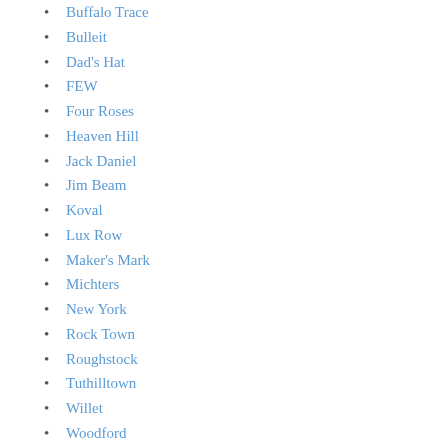Buffalo Trace (partial, cut off at top)
Bulleit
Dad's Hat
FEW
Four Roses
Heaven Hill
Jack Daniel
Jim Beam
Koval
Lux Row
Maker's Mark
Michters
New York
Rock Town
Roughstock
Tuthilltown
Willet
Woodford
Australia
Albany
Bakery Hill
Belgrove
Castle Glen
Corowa
Cradle Mountain
Hellyers Road
Lark